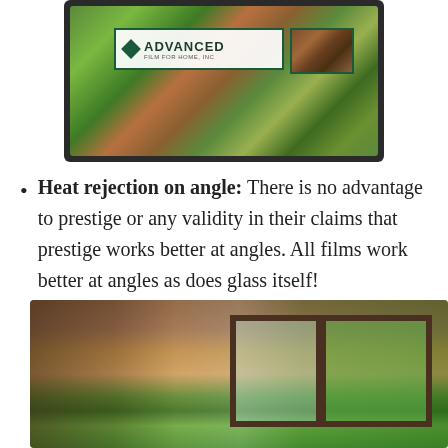[Figure (photo): Aerial view of a suburban neighborhood shown on a tablet/laptop screen with Advanced Film For Home logo overlay]
Heat rejection on angle: There is no advantage to prestige or any validity in their claims that prestige works better at angles. All films work better at angles as does glass itself!
[Figure (photo): Interior view of a room with wooden ceiling and windows looking out to green tropical vegetation]